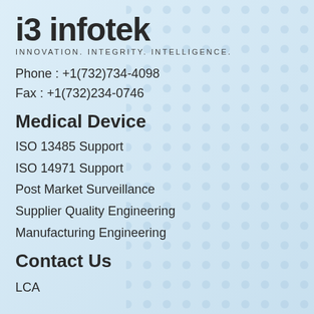i3 infotek
INNOVATION. INTEGRITY. INTELLIGENCE.
Phone : +1(732)734-4098
Fax : +1(732)234-0746
Medical Device
ISO 13485 Support
ISO 14971 Support
Post Market Surveillance
Supplier Quality Engineering
Manufacturing Engineering
Contact Us
LCA